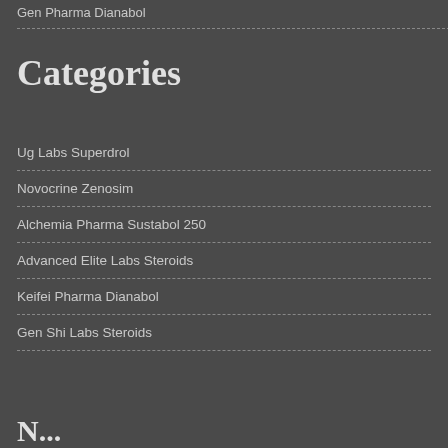Gen Pharma Dianabol
Categories
Ug Labs Superdrol
Novocrine Zenosim
Alchemia Pharma Sustabol 250
Advanced Elite Labs Steroids
Keifei Pharma Dianabol
Gen Shi Labs Steroids